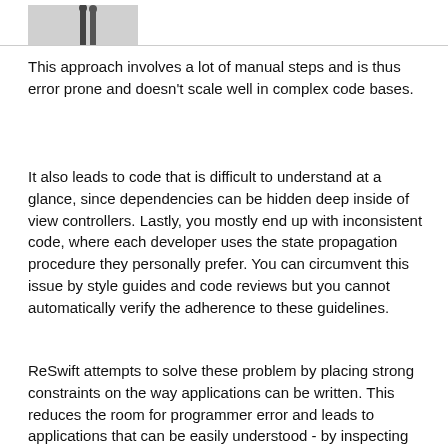[Figure (photo): Partial image of two figures (people) visible at the top of the page, cropped, against a light background.]
This approach involves a lot of manual steps and is thus error prone and doesn't scale well in complex code bases.
It also leads to code that is difficult to understand at a glance, since dependencies can be hidden deep inside of view controllers. Lastly, you mostly end up with inconsistent code, where each developer uses the state propagation procedure they personally prefer. You can circumvent this issue by style guides and code reviews but you cannot automatically verify the adherence to these guidelines.
ReSwift attempts to solve these problem by placing strong constraints on the way applications can be written. This reduces the room for programmer error and leads to applications that can be easily understood - by inspecting the application state data